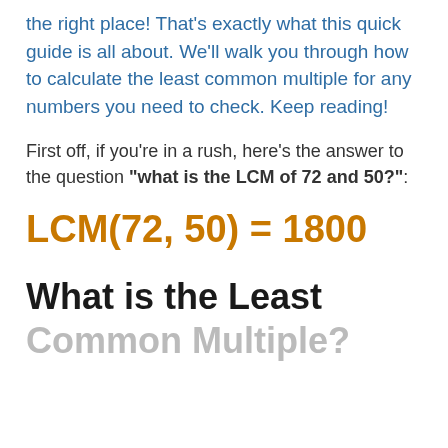the right place! That's exactly what this quick guide is all about. We'll walk you through how to calculate the least common multiple for any numbers you need to check. Keep reading!
First off, if you're in a rush, here's the answer to the question "what is the LCM of 72 and 50?":
What is the Least Common Multiple?